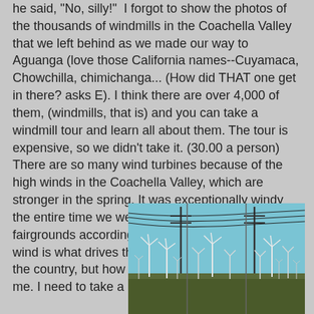he said, "No, silly!" I forgot to show the photos of the thousands of windmills in the Coachella Valley that we left behind as we made our way to Aguanga (love those California names--Cuyamaca, Chowchilla, chimichanga... (How did THAT one get in there? asks E). I think there are over 4,000 of them, (windmills, that is) and you can take a windmill tour and learn all about them. The tour is expensive, so we didn't take it. (30.00 a person) There are so many wind turbines because of the high winds in the Coachella Valley, which are stronger in the spring. It was exceptionally windy the entire time we were there at the Indio fairgrounds according to what the locals said.....The wind is what drives the weather across the rest of the country, but how that all works is a mystery to me. I need to take a meteorology class some time!
[Figure (photo): Photograph of numerous wind turbines in the Coachella Valley with power lines in the foreground and a blue sky background]